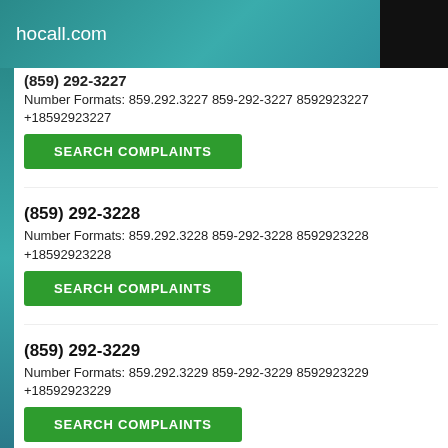hocall.com
(859) 292-3227 (partial)
Number Formats: 859.292.3227 859-292-3227 8592923227 +18592923227
SEARCH COMPLAINTS
(859) 292-3228
Number Formats: 859.292.3228 859-292-3228 8592923228 +18592923228
SEARCH COMPLAINTS
(859) 292-3229
Number Formats: 859.292.3229 859-292-3229 8592923229 +18592923229
SEARCH COMPLAINTS
(859) 292-3230